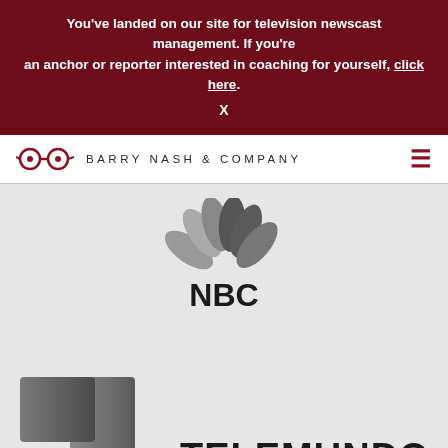You've landed on our site for television newscast management. If you're an anchor or reporter interested in coaching for yourself, click here.
X
[Figure (logo): Barry Nash & Company logo with glasses icon and company name]
[Figure (logo): NBC peacock logo with text NBC below]
[Figure (logo): Telemundo logo with stylized T icon]